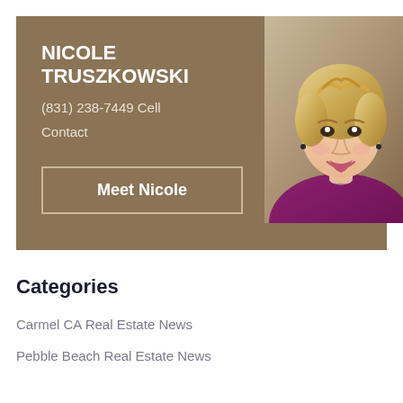[Figure (photo): Professional headshot of Nicole Truszkowski, a blonde woman smiling, wearing a purple top]
NICOLE TRUSZKOWSKI
(831) 238-7449 Cell
Contact
Meet Nicole
Categories
Carmel CA Real Estate News
Pebble Beach Real Estate News